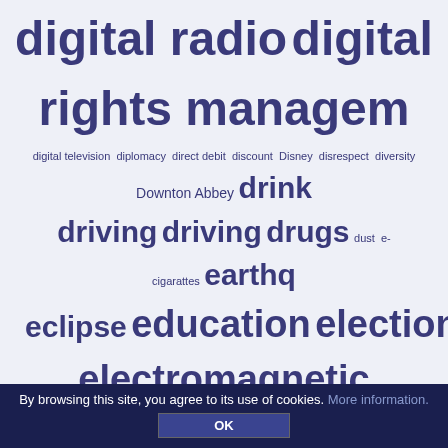[Figure (infographic): A word cloud with terms related to digital topics, government, law, health, internet, etc. displayed in varying font sizes on a light blue-grey background. Terms include: digital radio, digital rights management, digital television, diplomacy, direct debit, discount, Disney, disrespect, diversity, Downton Abbey, drink driving, driving, drugs, dust, e-cigarettes, earthquake, eclipse, education, election, electricity, electromagnetic fields, email, Empire, employment, energy, ethnicity, etymology, EU, Europe, Eurostar, exams, expenses, Facebook, fanfare, feed, fees, file-sharing, film music, fire, fitness, flag, Flickr, football, Formula One, fraud, Freedom of Information, free speech, fuel duty, gambling, game show, gay, George, Gilbert Scott, giant hogweed, Google, government, Greenpeace, guitar, health, Heath, heroes, holidays, Hong Kong, honours, hotel, housing, human rights, image use, immigration, independence, inflation, internet, interview, Iraq, Islam, Israel, ITV, Japan, jazz, Jazz FM, jigsaws, John Williams, joke, Jubilee, jury, justice, Kidderminster, Kodak, Labour, law, Leicester, lens, letter, licence, life expectancy, little.]
By browsing this site, you agree to its use of cookies. More information. OK